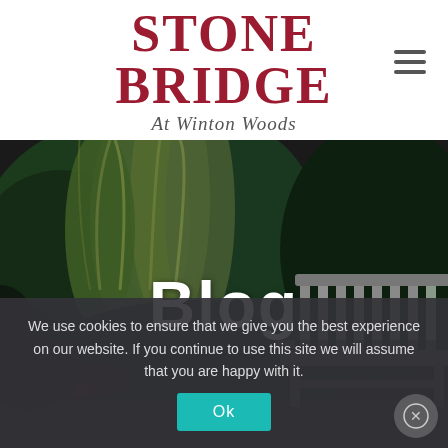[Figure (logo): Stone Bridge At Winton Woods logo with bold red serif text and italic gray subtitle]
[Figure (photo): Outdoor garden scene with a wooden bench, ornamental grasses, and dark foliage at night]
Blog
We use cookies to ensure that we give you the best experience on our website. If you continue to use this site we will assume that you are happy with it.